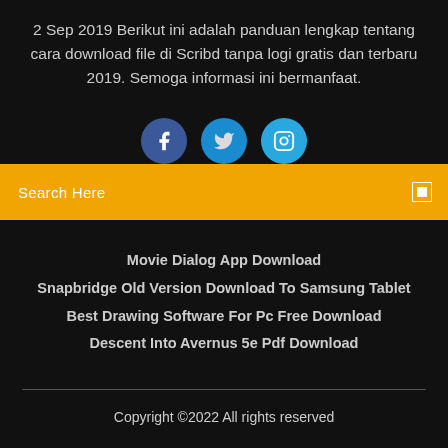2 Sep 2019 Berikut ini adalah panduan lengkap tentang cara download file di Scribd tanpa logi gratis dan terbaru 2019. Semoga informasi ini bermanfaat.
[Figure (illustration): Three social media icon circles: Facebook (dark blue), Twitter (medium blue), Instagram (light blue), partially visible]
Search Here
Movie Dialog App Download
Snapbridge Old Version Download To Samsung Tablet
Best Drawing Software For Pc Free Download
Descent Into Avernus 5e Pdf Download
Copyright ©2022 All rights reserved